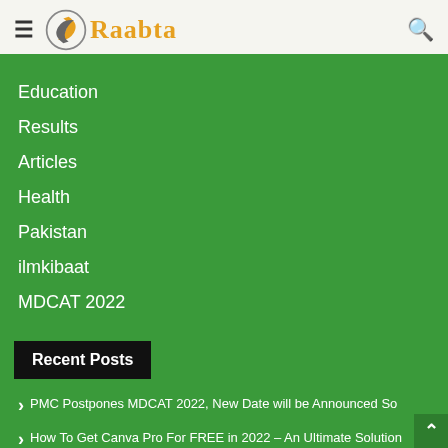Raabta
Education
Results
Articles
Health
Pakistan
ilmkibaat
MDCAT 2022
Recent Posts
PMC Postpones MDCAT 2022, New Date will be Announced So
How To Get Canva Pro For FREE in 2022 – An Ultimate Solution
BISE Lahore Board 10th Class Result 2022 Official